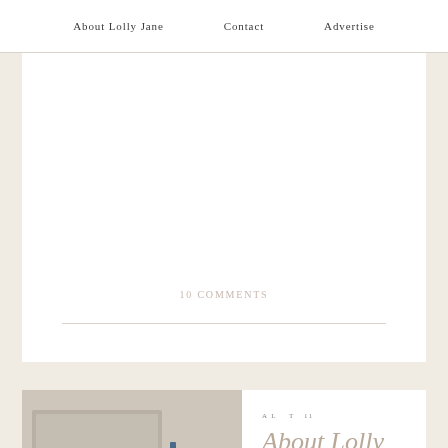About Lolly Jane   Contact   Advertise
10 COMMENTS
[Figure (photo): Two women posing together, one wearing a wide-brim hat, shown in a partially visible photo at the bottom of the page]
About Lolly Jane